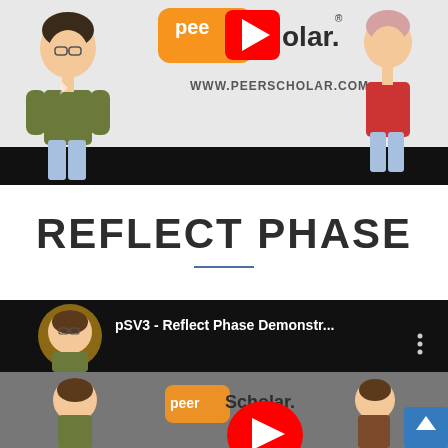[Figure (screenshot): Screenshot of a YouTube video thumbnail for PeerScholar showing two cartoon student figures and the PeerScholar logo with www.peerscholar.com URL, with a black bar at the bottom]
REFLECT PHASE
[Figure (screenshot): Screenshot of a YouTube video player showing 'pSV3 - Reflect Phase Demonstr...' with a cartoon avatar thumbnail, grey background, and PeerScholar logo visible in the video content below]